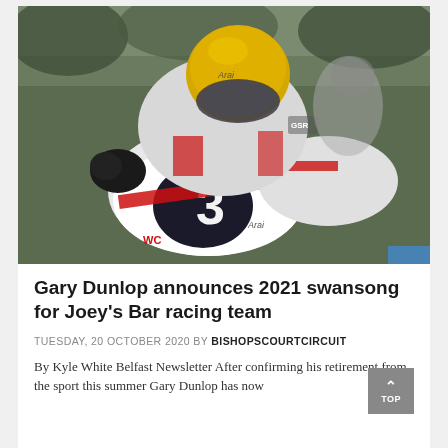[Figure (photo): Motorcycle racer wearing yellow Arai helmet and white/red/grey racing leathers with number 3, leaning forward over the bike on a race circuit. Arai branding visible on helmet, fairing and suit.]
Gary Dunlop announces 2021 swansong for Joey's Bar racing team
TUESDAY, 20 OCTOBER 2020 BY BISHOPSCOURTCIRCUIT
By Kyle White Belfast Newsletter After confirming his retirement from the sport this summer Gary Dunlop has now